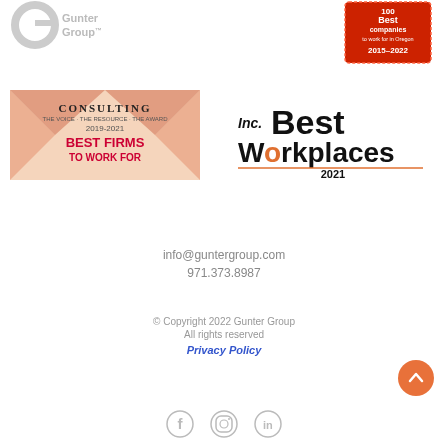[Figure (logo): Gunter Group logo, grayed out, top left]
[Figure (logo): 100 Best Companies to work for in Oregon 2015-2022 badge, red, top right]
[Figure (logo): Consulting Magazine Best Firms to Work For 2019-2021 banner, red and peach diamond pattern]
[Figure (logo): Inc. Best Workplaces 2021 logo, black and orange]
info@guntergroup.com
971.373.8987
© Copyright 2022 Gunter Group
All rights reserved
Privacy Policy